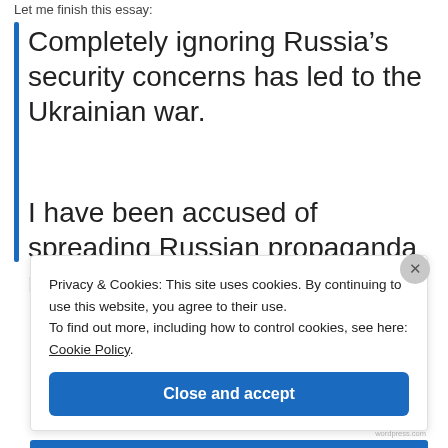Let me finish this essay:
Completely ignoring Russia’s security concerns has led to the Ukrainian war.
I have been accused of spreading Russian propaganda merely for
Privacy & Cookies: This site uses cookies. By continuing to use this website, you agree to their use.
To find out more, including how to control cookies, see here: Cookie Policy
Close and accept